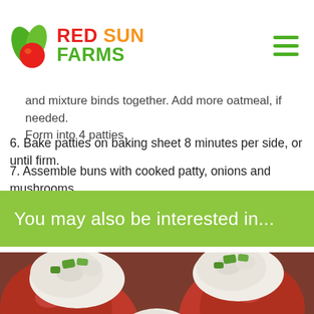Red Sun Farms
...and mixture binds together. Add more oatmeal, if needed. Form into 4 patties.
6. Bake patties on baking sheet 8 minutes per side, or until firm.
7. Assemble buns with cooked patty, onions and mushrooms.
You may also be interested in...
[Figure (photo): Cherry tomatoes stuffed with creamy chicken or tuna salad topped with diced green vegetables, close-up food photography.]